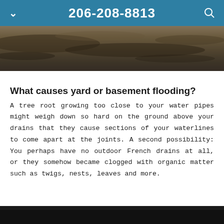206-208-8813
[Figure (photo): Close-up photograph of rocky or muddy ground/soil texture, earthy tones]
What causes yard or basement flooding?
A tree root growing too close to your water pipes might weigh down so hard on the ground above your drains that they cause sections of your waterlines to come apart at the joints. A second possibility: You perhaps have no outdoor French drains at all, or they somehow became clogged with organic matter such as twigs, nests, leaves and more.
[Figure (photo): Partially visible dark image at bottom of page]